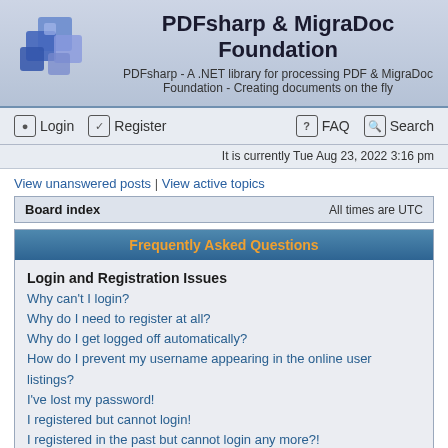PDFsharp & MigraDoc Foundation
PDFsharp - A .NET library for processing PDF & MigraDoc Foundation - Creating documents on the fly
Login | Register | FAQ | Search
It is currently Tue Aug 23, 2022 3:16 pm
View unanswered posts | View active topics
Board index	All times are UTC
Frequently Asked Questions
Login and Registration Issues
Why can't I login?
Why do I need to register at all?
Why do I get logged off automatically?
How do I prevent my username appearing in the online user listings?
I've lost my password!
I registered but cannot login!
I registered in the past but cannot login any more?!
What is COPPA?
Why can't I register?
What does the "Delete all board cookies" do?
User Preferences and settings
How do I change my settings?
The times are not correct!
I changed the timezone and the time is still wrong!